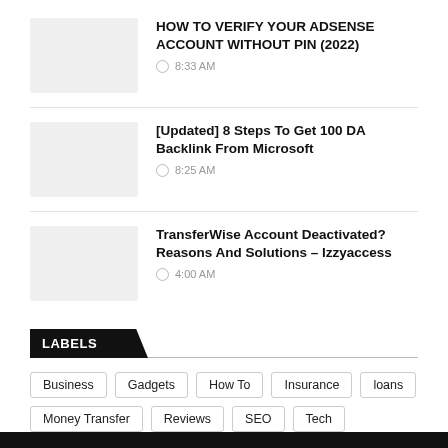HOW TO VERIFY YOUR ADSENSE ACCOUNT WITHOUT PIN (2022) — 8:33 AM
[Updated] 8 Steps To Get 100 DA Backlink From Microsoft — 8:25 AM
TransferWise Account Deactivated? Reasons And Solutions – Izzyaccess — 4:00 AM
LABELS
Business  Gadgets  How To  Insurance  loans  Money Transfer  Reviews  SEO  Tech  Tutorials